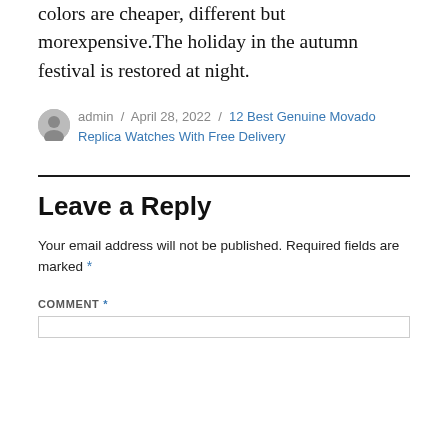party, you will beneficial to the author. Some colors are cheaper, different but morexpensive.The holiday in the autumn festival is restored at night.
admin / April 28, 2022 / 12 Best Genuine Movado Replica Watches With Free Delivery
Leave a Reply
Your email address will not be published. Required fields are marked *
COMMENT *